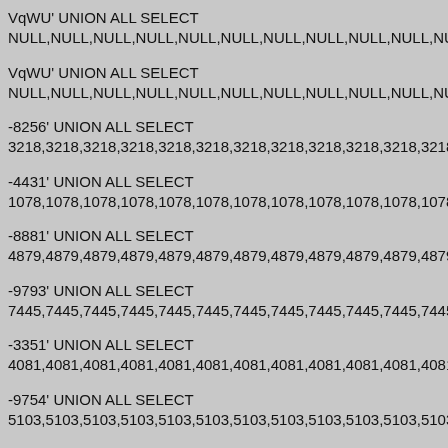VqWU' UNION ALL SELECT
NULL,NULL,NULL,NULL,NULL,NULL,NULL,NULL,NULL,NULL,NUL
VqWU' UNION ALL SELECT
NULL,NULL,NULL,NULL,NULL,NULL,NULL,NULL,NULL,NULL,NUL
-8256' UNION ALL SELECT
3218,3218,3218,3218,3218,3218,3218,3218,3218,3218,3218,3218,
-4431' UNION ALL SELECT
1078,1078,1078,1078,1078,1078,1078,1078,1078,1078,1078,1078,
-8881' UNION ALL SELECT
4879,4879,4879,4879,4879,4879,4879,4879,4879,4879,4879,4879,
-9793' UNION ALL SELECT
7445,7445,7445,7445,7445,7445,7445,7445,7445,7445,7445,7445,
-3351' UNION ALL SELECT
4081,4081,4081,4081,4081,4081,4081,4081,4081,4081,4081,4081,
-9754' UNION ALL SELECT
5103,5103,5103,5103,5103,5103,5103,5103,5103,5103,5103,5103,
-3573' UNION ALL SELECT
9686,9686,9686,9686,9686,9686,9686,9686,9686,9686,9686,9686,